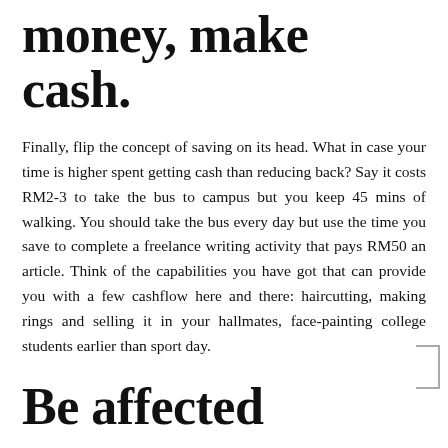money, make cash.
Finally, flip the concept of saving on its head. What in case your time is higher spent getting cash than reducing back? Say it costs RM2-3 to take the bus to campus but you keep 45 mins of walking. You should take the bus every day but use the time you save to complete a freelance writing activity that pays RM50 an article. Think of the capabilities you have got that can provide you with a few cashflow here and there: haircutting, making rings and selling it in your hallmates, face-painting college students earlier than sport day.
Be affected person.
Saving cash takes time — specially with the costs of university. Be patient as you wait to attain your saving goals. You'll thank yourself when you have more financial